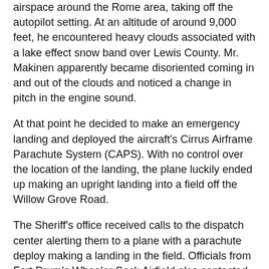airspace around the Rome area, taking off the autopilot setting. At an altitude of around 9,000 feet, he encountered heavy clouds associated with a lake effect snow band over Lewis County. Mr. Makinen apparently became disoriented coming in and out of the clouds and noticed a change in pitch in the engine sound.
At that point he decided to make an emergency landing and deployed the aircraft's Cirrus Airframe Parachute System (CAPS). With no control over the location of the landing, the plane luckily ended up making an upright landing into a field off the Willow Grove Road.
The Sheriff's office received calls to the dispatch center alerting them to a plane with a parachute deploy making a landing in the field. Officials from Fort Drum's Wheeler Sack Airfield also contacted the Sheriff's Office to notify them that they had received a Mayday call, providing officers with the coordinates.
"It's a miracle they ended up landing where they did," Undersheriff McIntosh said.